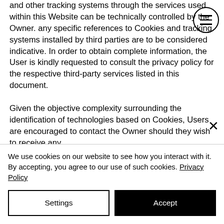and other tracking systems through the services used within this Website can be technically controlled by the Owner. any specific references to Cookies and tracking systems installed by third parties are to be considered indicative. In order to obtain complete information, the User is kindly requested to consult the privacy policy for the respective third-party services listed in this document.

Given the objective complexity surrounding the identification of technologies based on Cookies, Users are encouraged to contact the Owner should they wish to receive any
We use cookies on our website to see how you interact with it. By accepting, you agree to our use of such cookies. Privacy Policy